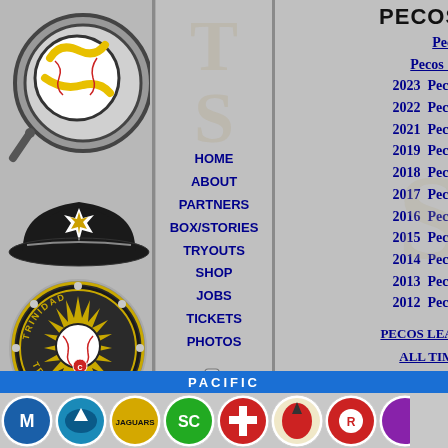[Figure (logo): Baseball with yellow swoosh mark, black outline, on gray background - Pecos League logo top section]
[Figure (logo): Black baseball cap with white starburst/explosion emblem]
HOME
ABOUT
PARTNERS
BOX/STORIES
TRYOUTS
SHOP
JOBS
TICKETS
PHOTOS
[Figure (photo): Camera icon]
PECOS LEAGUE
Pecos League
Pecos Spring League
2023  Pecos League Season
2022  Pecos League Season
2021  Pecos League Season
2019  Pecos League Season
2018  Pecos League Season
2017  Pecos League Season
2016  Pecos League Season
2015  Pecos League Season
2014  Pecos League Season
2013  Pecos League Season
2012  Pecos League Season
PECOS LEAGUE OPPONENTS
ALL TIME OPPONENTS
TRINIDAD BASEBALL REFERENCE
[Figure (logo): Trinidad Triggers circular badge - black and gold with star burst and baseball, text TRINIDAD TRIGGERS]
PACIFIC
[Figure (logo): Row of team logos at bottom: blue bird team, shark/fish team, Jaguars, green claw SC team, cross team, wizard/magician team, red robot team, and partial right team]